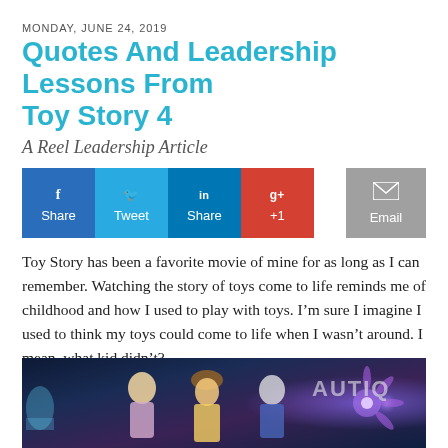MONDAY, JUNE 24, 2019
Quotes And Leadership Lessons From Toy Story 4
A Reel Leadership Article
[Figure (infographic): Social share buttons: Facebook Share, Twitter Tweet, LinkedIn Share, Google+ +1, and Email button]
Toy Story has been a favorite movie of mine for as long as I can remember. Watching the story of toys come to life reminds me of childhood and how I used to play with toys. I'm sure I imagine I used to think my toys could come to life when I wasn't around. I mean, what kid didn't?
[Figure (photo): Movie still from Toy Story 4 showing animated characters Bo Peep, Woody, and Buzz Lightyear against a colorful background with neon lights]